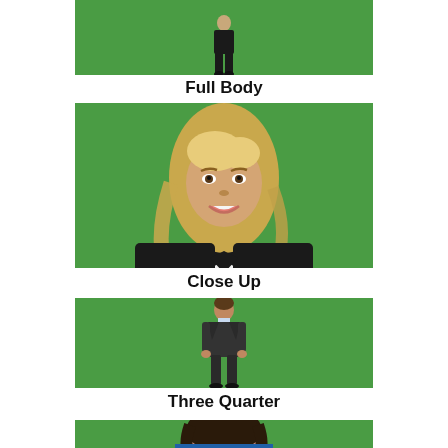[Figure (photo): Person standing full body, green screen background, cropped at top]
Full Body
[Figure (photo): Blonde woman smiling, close up portrait, green screen background, wearing black blazer]
Close Up
[Figure (photo): Man in dark suit standing three quarter view, green screen background]
Three Quarter
[Figure (photo): Woman with dark hair, partial view at bottom of page, green screen background, wearing blue top]